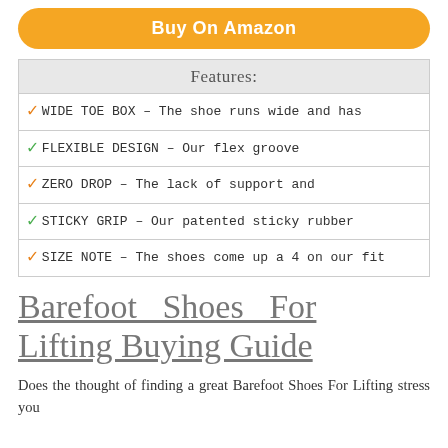[Figure (other): Orange 'Buy On Amazon' button with rounded corners]
| Features: |
| --- |
| ✓ WIDE TOE BOX – The shoe runs wide and has |
| ✓ FLEXIBLE DESIGN – Our flex groove |
| ✓ ZERO DROP – The lack of support and |
| ✓ STICKY GRIP – Our patented sticky rubber |
| ✓ SIZE NOTE – The shoes come up a 4 on our fit |
Barefoot Shoes For Lifting Buying Guide
Does the thought of finding a great Barefoot Shoes For Lifting stress you